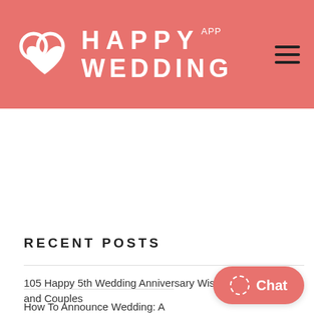HAPPY WEDDING APP
RECENT POSTS
105 Happy 5th Wedding Anniversary Wishes for Him, Her and Couples
How To Announce Wedding: A Complete Guide Of Wordings